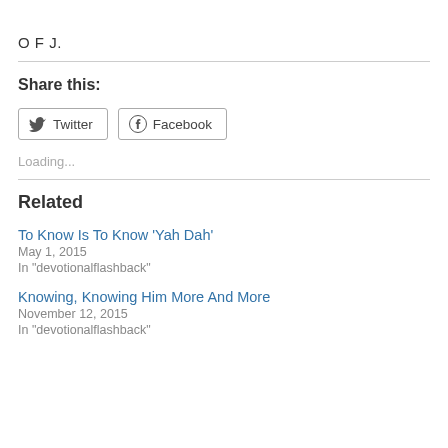O F J.
Share this:
Twitter  Facebook
Loading...
Related
To Know Is To Know 'Yah Dah'
May 1, 2015
In "devotionalflashback"
Knowing, Knowing Him More And More
November 12, 2015
In "devotionalflashback"